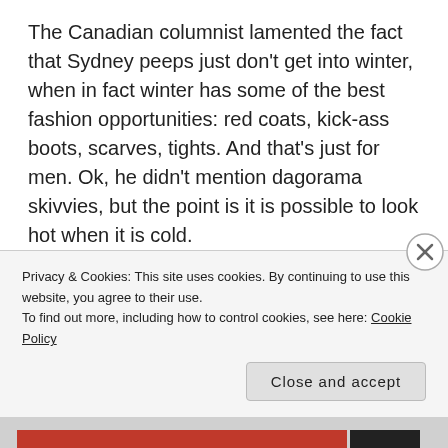The Canadian columnist lamented the fact that Sydney peeps just don't get into winter, when in fact winter has some of the best fashion opportunities: red coats, kick-ass boots, scarves, tights. And that's just for men. Ok, he didn't mention dagorama skivvies, but the point is it is possible to look hot when it is cold.
And it is cold in Sydney in winter. OK, not in a New York subway freezing kind of way, or a Siberian wind kind of way, but when the sun goes down or doesn't
Privacy & Cookies: This site uses cookies. By continuing to use this website, you agree to their use.
To find out more, including how to control cookies, see here: Cookie Policy
Close and accept